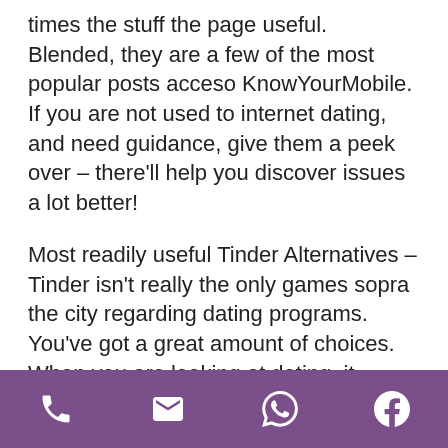times the stuff the page useful. Blended, they are a few of the most popular posts acceso KnowYourMobile. If you are not used to internet dating, and need guidance, give them a peek over – there'll help you discover issues a lot better!
Most readily useful Tinder Alternatives – Tinder isn't really the only games sopra the city regarding dating programs. You've got a great amount of choices. When you are looking at dating, it usually is easier to hedge their bets, so browse the tetto Tinder options for 2021 and watch of every of those are far more your own speed.
Tinder statistics & Statistics –Statistics are great. When
[phone icon] [email icon] [whatsapp icon] [facebook icon]